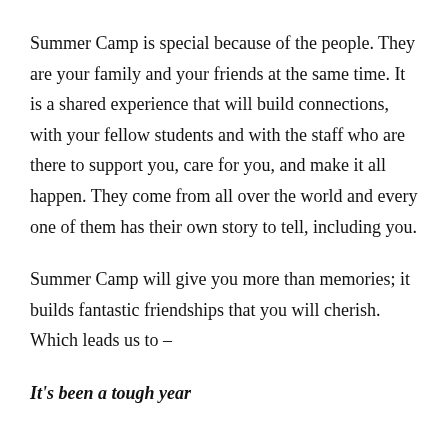Summer Camp is special because of the people. They are your family and your friends at the same time. It is a shared experience that will build connections, with your fellow students and with the staff who are there to support you, care for you, and make it all happen. They come from all over the world and every one of them has their own story to tell, including you.
Summer Camp will give you more than memories; it builds fantastic friendships that you will cherish. Which leads us to –
It's been a tough year